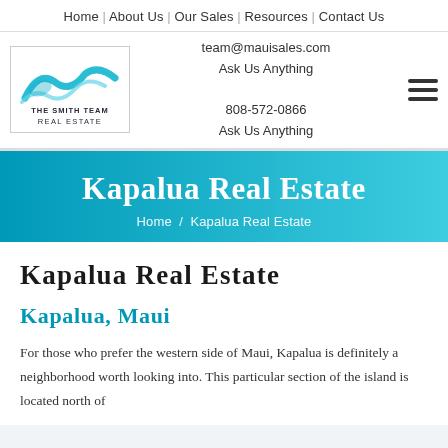Home | About Us | Our Sales | Resources | Contact Us
[Figure (logo): The Smith Team Real Estate logo with wave graphic]
team@mauisales.com
Ask Us Anything
808-572-0866
Ask Us Anything
Kapalua Real Estate
Home / Kapalua Real Estate
Kapalua Real Estate
Kapalua, Maui
For those who prefer the western side of Maui, Kapalua is definitely a neighborhood worth looking into. This particular section of the island is located north of